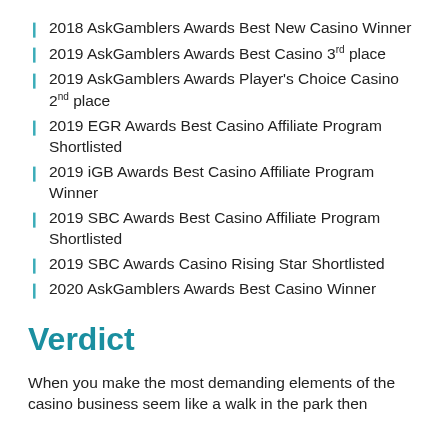2018 AskGamblers Awards Best New Casino Winner
2019 AskGamblers Awards Best Casino 3rd place
2019 AskGamblers Awards Player's Choice Casino 2nd place
2019 EGR Awards Best Casino Affiliate Program Shortlisted
2019 iGB Awards Best Casino Affiliate Program Winner
2019 SBC Awards Best Casino Affiliate Program Shortlisted
2019 SBC Awards Casino Rising Star Shortlisted
2020 AskGamblers Awards Best Casino Winner
Verdict
When you make the most demanding elements of the casino business seem like a walk in the park then